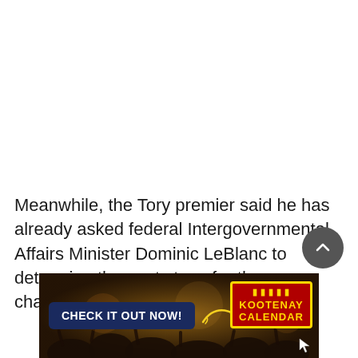Meanwhile, the Tory premier said he has already asked federal Intergovernmental Affairs Minister Dominic LeBlanc to determine the next steps for the name change.
[Figure (infographic): Advertisement banner with dark background showing concert crowd. Left side has 'CHECK IT OUT NOW!' button in dark blue. Right side shows 'KOOTENAY CALENDAR' logo in red with yellow border. A yellow arrow/swirl graphic points from left to right.]